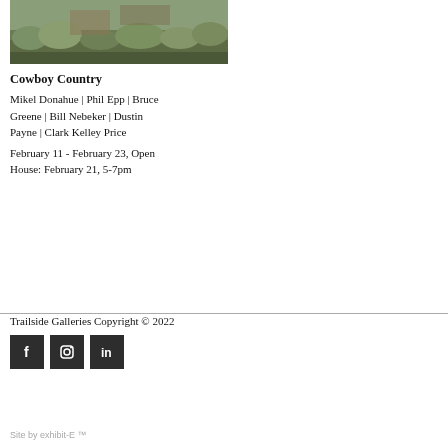[Figure (photo): Landscape photo showing sagebrush or shrubs in muted green and brown tones, partially cropped at top of page]
Cowboy Country
Mikel Donahue | Phil Epp | Bruce Greene | Bill Nebeker | Dustin Payne | Clark Kelley Price
February 11 - February 23, Open House: February 21, 5-7pm
Trailside Galleries Copyright © 2022
[Figure (logo): Facebook, Instagram, and LinkedIn social media icons in dark square buttons]
Site by exhibit-E ™